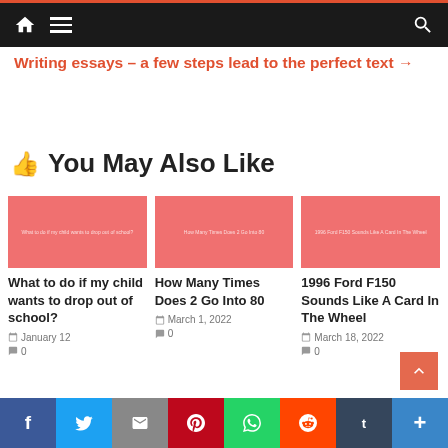Navigation bar with home, menu, and search icons
Writing essays – a few steps lead to the perfect text →
👍 You May Also Like
[Figure (other): Thumbnail image placeholder for article: What to do if my child wants to drop out of school?]
What to do if my child wants to drop out of school?
January 12
[Figure (other): Thumbnail image placeholder for article: How Many Times Does 2 Go Into 80]
How Many Times Does 2 Go Into 80
March 1, 2022
0
[Figure (other): Thumbnail image placeholder for article: 1996 Ford F150 Sounds Like A Card In The Wheel]
1996 Ford F150 Sounds Like A Card In The Wheel
March 18, 2022
0
Social share bar: Facebook, Twitter, Email, Pinterest, WhatsApp, Reddit, Tumblr, More